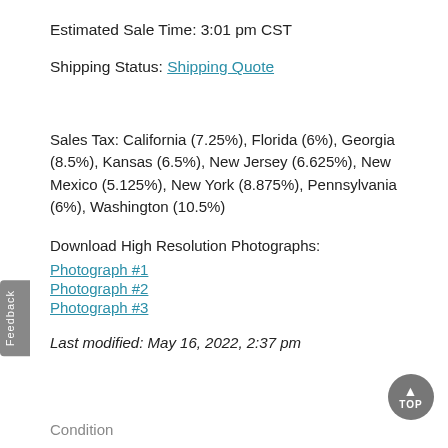Estimated Sale Time: 3:01 pm CST
Shipping Status: Shipping Quote
Sales Tax: California (7.25%), Florida (6%), Georgia (8.5%), Kansas (6.5%), New Jersey (6.625%), New Mexico (5.125%), New York (8.875%), Pennsylvania (6%), Washington (10.5%)
Download High Resolution Photographs:
Photograph #1
Photograph #2
Photograph #3
Last modified: May 16, 2022, 2:37 pm
Condition